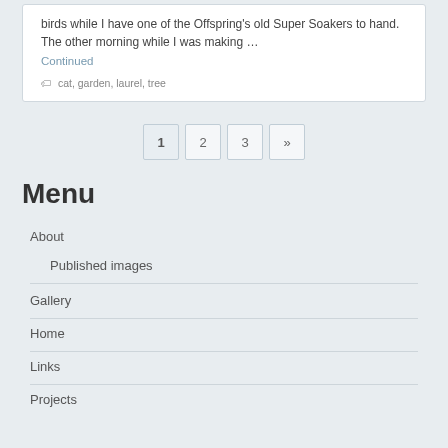birds while I have one of the Offspring's old Super Soakers to hand. The other morning while I was making …
Continued
🏷 cat, garden, laurel, tree
1  2  3  »
Menu
About
Published images
Gallery
Home
Links
Projects